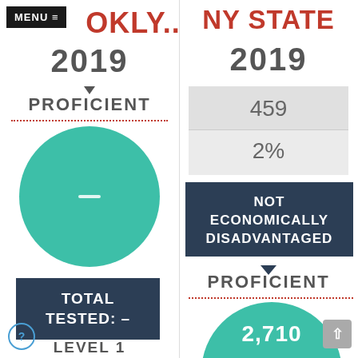MENU ≡
BROOKLY...
2019
PROFICIENT
[Figure (infographic): Large teal circle with a white dash in the center, representing no proficiency data]
TOTAL TESTED: –
LEVEL 1
NY STATE
2019
| 459 |
| 2% |
NOT ECONOMICALLY DISADVANTAGED
PROFICIENT
[Figure (infographic): Teal circle showing the number 2,710 inside, partially visible at bottom of page]